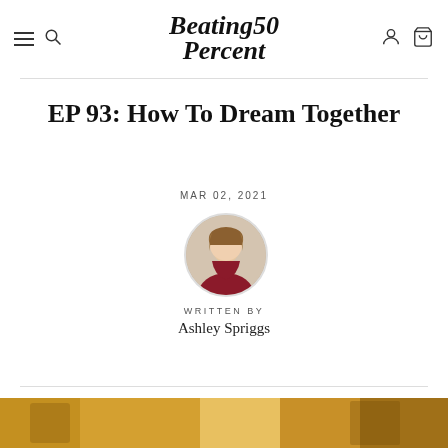Beating50Percent
EP 93: How To Dream Together
MAR 02, 2021
[Figure (photo): Circular portrait photo of Ashley Spriggs, a woman with long blonde hair wearing a dark red/maroon top, seated and smiling]
WRITTEN BY
Ashley Spriggs
[Figure (photo): Partial bottom image showing warm golden/amber tones, appears to be a lifestyle or podcast-related photo]